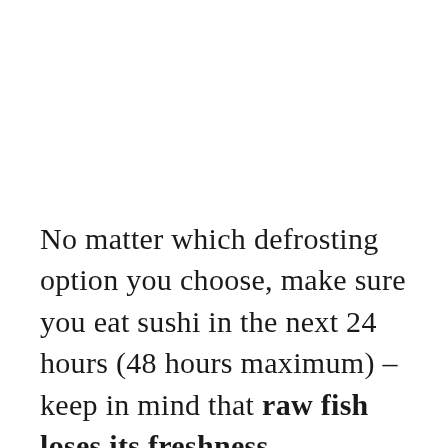No matter which defrosting option you choose, make sure you eat sushi in the next 24 hours (48 hours maximum) – keep in mind that raw fish loses its freshness